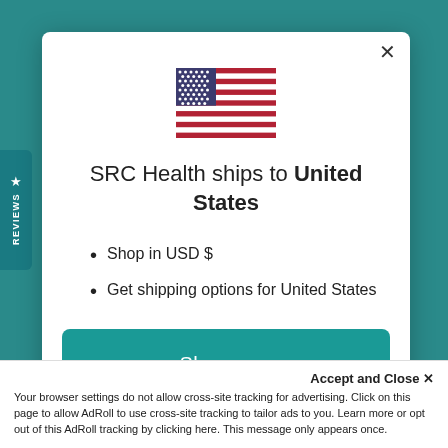[Figure (illustration): US flag emoji/illustration centered at top of modal]
SRC Health ships to United States
Shop in USD $
Get shipping options for United States
Shop now
Change shipping country
Accept and Close ✕
Your browser settings do not allow cross-site tracking for advertising. Click on this page to allow AdRoll to use cross-site tracking to tailor ads to you. Learn more or opt out of this AdRoll tracking by clicking here. This message only appears once.